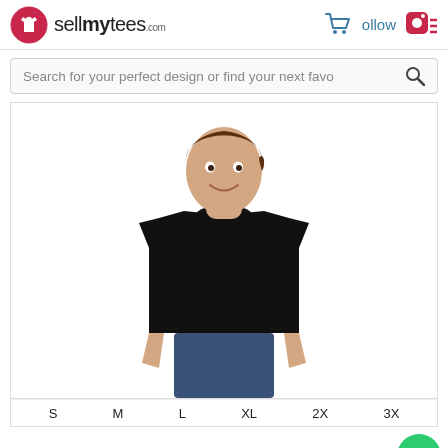[Figure (logo): sellmytees.com logo with red circle and t-shirt icon]
[Figure (infographic): Shopping cart icon and Instagram follow icon in teal/red on the right side of header]
Search for your perfect design or find your next favo
[Figure (photo): Young man wearing a plain black t-shirt, smiling, shown from torso up]
S    M    L    XL    2X    3X